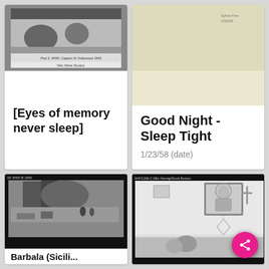[Figure (photo): Black and white photograph with caption text, archival photo card]
[Eyes of memory never sleep]
[Figure (photo): Cream/beige colored archival card or envelope with small text 'Sylvia Fine 1/23/58']
Good Night - Sleep Tight
1/23/58 (date)
[Figure (photo): Black and white film negative or photo showing industrial/military machinery or aircraft parts with workers]
Barbala (Sicili...
[Figure (photo): Black and white film photo of interior room with religious painting of Jesus on wall, decorative star/diamond ornament, person lying on bed]